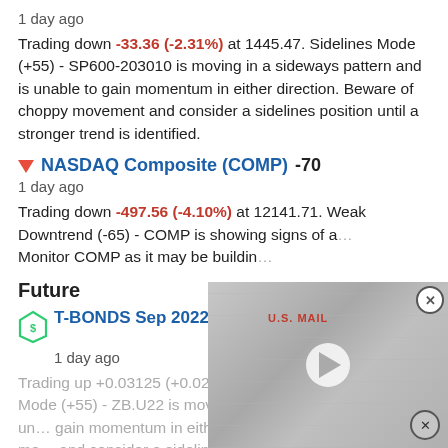1 day ago
Trading down -33.36 (-2.31%) at 1445.47. Sidelines Mode (+55) - SP600-203010 is moving in a sideways pattern and is unable to gain momentum in either direction. Beware of choppy movement and consider a sidelines position until a stronger trend is identified.
▼ NASDAQ Composite (COMP) -70
1 day ago
Trading down -497.56 (-4.10%) at 12141.71. Weak Downtrend (-65) - COMP is showing signs of a… Monitor COMP as it may be buildin…
Future
T-BONDS Sep 2022 (ZB.U22)
1 day ago
Trading up +0.03125 (+0.02%) at 137.75000. Sidelines Mode (+55) - ZB.U22 is moving in a sideways pattern and is un… gain momentum in either direction. Beware of choppy mo… and consider a sidelines position until a stronger trend is
[Figure (screenshot): Video overlay showing U.S. Mail boxes image with a play button in the center and close buttons at top-right and bottom-right corners.]